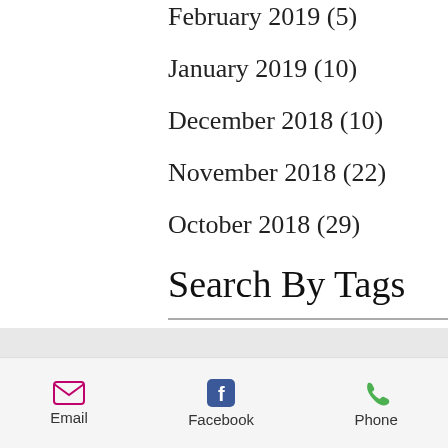February 2019 (5)
January 2019 (10)
December 2018 (10)
November 2018 (22)
October 2018 (29)
Search By Tags
Mission Week
Follow Us
[Figure (other): Facebook, Twitter, and Google+ social media icon buttons]
Email   Facebook   Phone